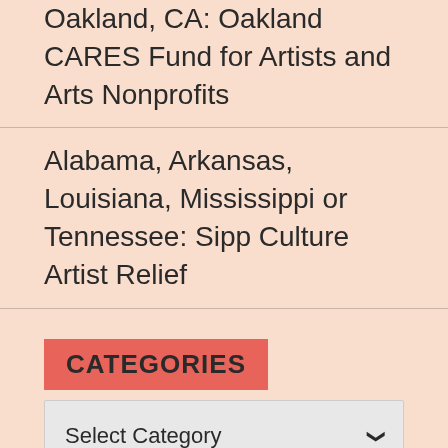Oakland, CA: Oakland CARES Fund for Artists and Arts Nonprofits
Alabama, Arkansas, Louisiana, Mississippi or Tennessee: Sipp Culture Artist Relief
CATEGORIES
Select Category